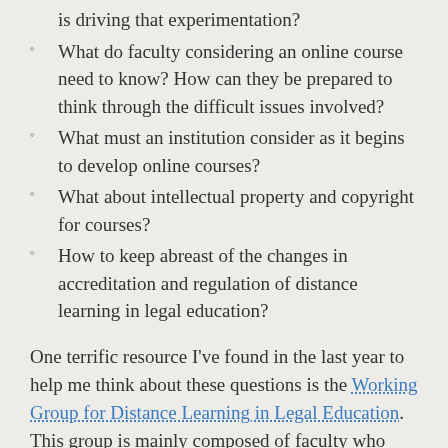is driving that experimentation?
What do faculty considering an online course need to know? How can they be prepared to think through the difficult issues involved?
What must an institution consider as it begins to develop online courses?
What about intellectual property and copyright for courses?
How to keep abreast of the changes in accreditation and regulation of distance learning in legal education?
One terrific resource I've found in the last year to help me think about these questions is the Working Group for Distance Learning in Legal Education. This group is mainly composed of faculty who teach and develop blended and fully online courses. Since 2011, they